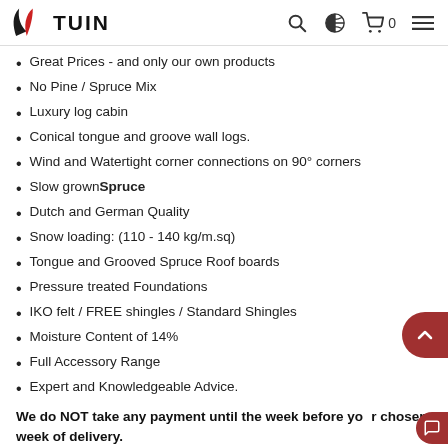TUIN
Great Prices - and only our own products
No Pine / Spruce Mix
Luxury log cabin
Conical tongue and groove wall logs.
Wind and Watertight corner connections on 90° corners
Slow grown Spruce
Dutch and German Quality
Snow loading: (110 - 140 kg/m.sq)
Tongue and Grooved Spruce Roof boards
Pressure treated Foundations
IKO felt / FREE shingles / Standard Shingles
Moisture Content of 14%
Full Accessory Range
Expert and Knowledgeable Advice.
We do NOT take any payment until the week before your chosen week of delivery.